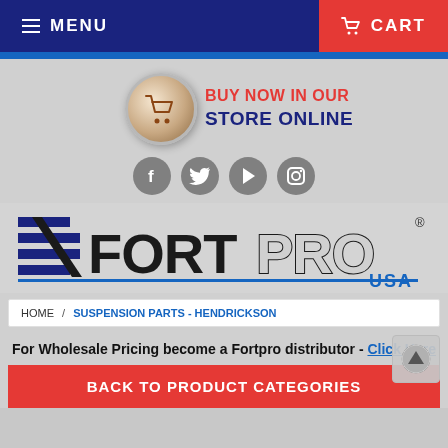≡ MENU   🛒 CART
[Figure (logo): Shopping cart circle icon with BUY NOW IN OUR STORE ONLINE text]
[Figure (illustration): Social media icons: Facebook, Twitter, YouTube/Play, Instagram]
[Figure (logo): FortPro USA logo with horizontal lines graphic]
HOME / SUSPENSION PARTS - HENDRICKSON
For Wholesale Pricing become a Fortpro distributor - Click Here
BACK TO PRODUCT CATEGORIES